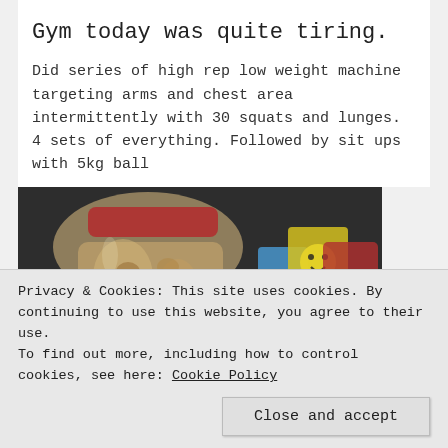Gym today was quite tiring.
Did series of high rep low weight machine targeting arms and chest area intermittently with 30 squats and lunges. 4 sets of everything. Followed by sit ups with 5kg ball
[Figure (photo): Photo of a glass jar filled with nuts/snacks on a dark surface, with colorful mugs/cups visible in the background]
Privacy & Cookies: This site uses cookies. By continuing to use this website, you agree to their use.
To find out more, including how to control cookies, see here: Cookie Policy